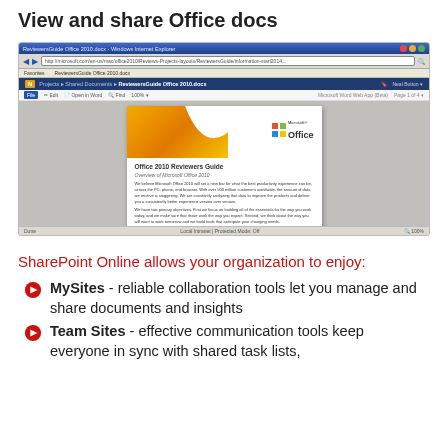View and share Office docs
[Figure (screenshot): Screenshot of Microsoft Word Online (Word Web App) displaying the Office 2010 Reviewers Guide document inside Internet Explorer, accessed via SharePoint.]
SharePoint Online allows your organization to enjoy:
MySites - reliable collaboration tools let you manage and share documents and insights
Team Sites - effective communication tools keep everyone in sync with shared task lists,